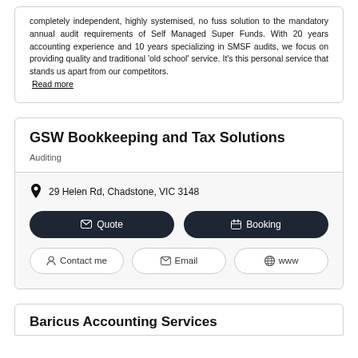completely independent, highly systemised, no fuss solution to the mandatory annual audit requirements of Self Managed Super Funds. With 20 years accounting experience and 10 years specializing in SMSF audits, we focus on providing quality and traditional 'old school' service. It's this personal service that stands us apart from our competitors. Read more
GSW Bookkeeping and Tax Solutions
Auditing
29 Helen Rd, Chadstone, VIC 3148
Quote
Booking
Contact me
Email
www
Baricus Accounting Services